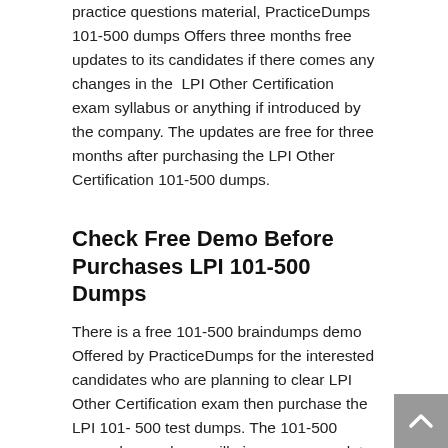practice questions material, PracticeDumps 101-500 dumps Offers three months free updates to its candidates if there comes any changes in the LPI Other Certification exam syllabus or anything if introduced by the company. The updates are free for three months after purchasing the LPI Other Certification 101-500 dumps.
Check Free Demo Before Purchases LPI 101-500 Dumps
There is a free 101-500 braindumps demo Offered by PracticeDumps for the interested candidates who are planning to clear LPI Other Certification exam then purchase the LPI 101-500 test dumps. The 101-500 exam dumps demo will give you a complete idea about the quality of the LPI 101-500 practice dumps. They can understand the features and all the aspects